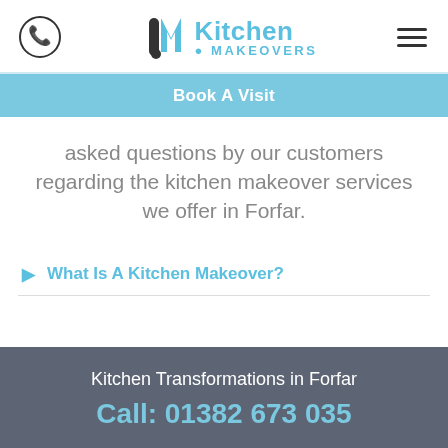[Figure (logo): Kitchen Makeovers logo with phone icon and hamburger menu]
Book A Visit
asked questions by our customers regarding the kitchen makeover services we offer in Forfar.
What Is A Kitchen Makeover?
Kitchen Transformations in Forfar
Call: 01382 673 035